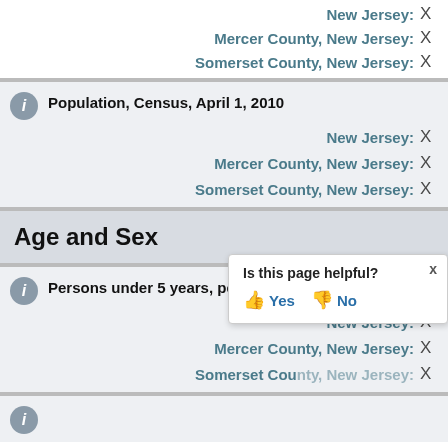New Jersey: X
Mercer County, New Jersey: X
Somerset County, New Jersey: X
Population, Census, April 1, 2010
New Jersey: X
Mercer County, New Jersey: X
Somerset County, New Jersey: X
Age and Sex
Persons under 5 years, percent
New Jersey: X
Mercer County, New Jersey: X
Somerset County, New Jersey: X
Is this page helpful? Yes No